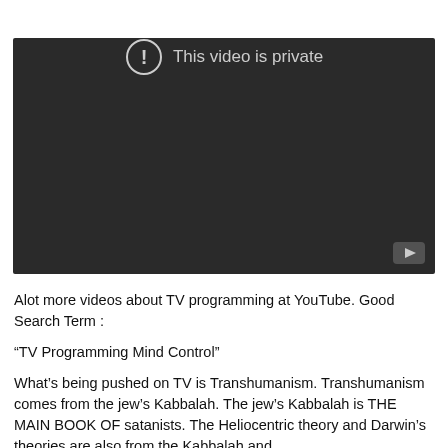[Figure (screenshot): A dark video player showing 'This video is private' message with a circle-exclamation icon and a YouTube play button in the bottom right corner.]
Alot more videos about TV programming at YouTube. Good Search Term :
“TV Programming Mind Control”
What’s being pushed on TV is Transhumanism. Transhumanism comes from the jew’s Kabbalah. The jew’s Kabbalah is THE MAIN BOOK OF satanists. The Heliocentric theory and Darwin’s theories are also from the Kabbalah and